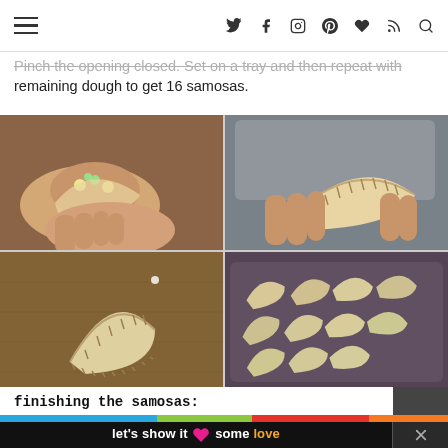hamburger menu icon and social/nav icons: Twitter, Facebook, Instagram, Pinterest, Heart, RSS, Search
Pinch the opening closed. Set on a tray and then repeat with remaining dough to get 16 samosas.
[Figure (photo): Four-panel photo grid showing steps to fold and seal samosas: top-left shows a hand holding an open samosa filled with potato-pea mixture; top-right shows a hand pinching closed a half-moon shaped samosa with crimped edges; bottom-left shows a finished sealed samosa on a wooden cutting board; bottom-right shows multiple uncooked samosas arranged on a baking tray.]
finishing the samosas:
let's show it some love